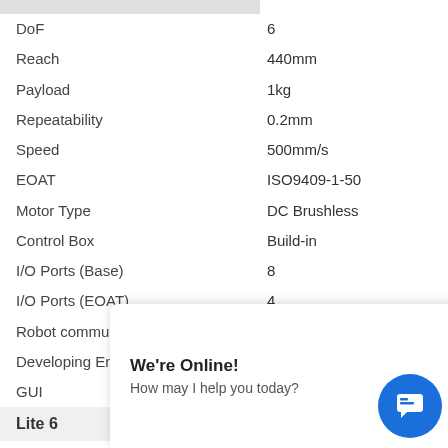| Property | Value |
| --- | --- |
| DoF | 6 |
| Reach | 440mm |
| Payload | 1kg |
| Repeatability | 0.2mm |
| Speed | 500mm/s |
| EOAT | ISO9409-1-50 |
| Motor Type | DC Brushless |
| Control Box | Build-in |
| I/O Ports (Base) | 8 |
| I/O Ports (EOAT) | 4 |
| Robot communication | Modbus TCP |
| Developing Environment | Python/ROS/C++ |
| GUI | UFACTORY Studio |
Lite 6
| Property | Value |
| --- | --- |
| Maximum Speed | 90°/s |
| Joint 1 | ±360° |
| Joint 2 | ±150° |
| Joint 3 | (cut off) |
| Joint 4 | (cut off) |
| Joint 5 | (cut off) |
We're Online! How may I help you today?